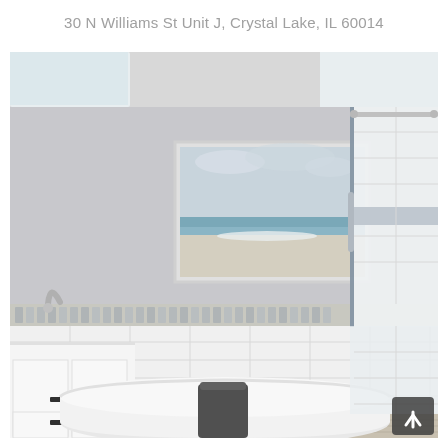30 N Williams St Unit J, Crystal Lake, IL 60014
[Figure (photo): Modern bathroom interior featuring a white freestanding soaking tub in the center, white subway tile walls with a decorative mosaic border, a glass-enclosed shower enclosure on the right with chrome hardware and patterned tile accent band, white vanity cabinetry with black hardware on the left with a chrome faucet, and a framed beach landscape painting hanging on the gray wall above the tub. A dark gray towel is draped over the tub. The floor appears to be light wood-look tile. A scroll-to-top button is visible in the lower right corner.]